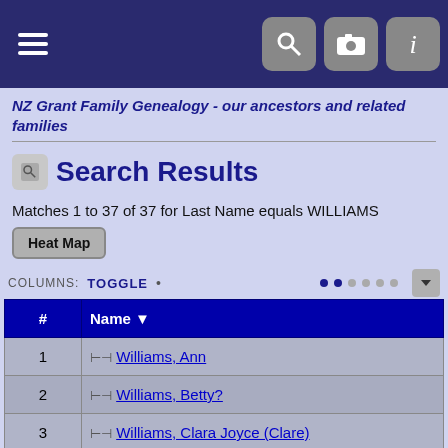NZ Grant Family Genealogy navigation bar
NZ Grant Family Genealogy - our ancestors and related families
Search Results
Matches 1 to 37 of 37 for Last Name equals WILLIAMS
Heat Map
COLUMNS: TOGGLE
| # | Name |
| --- | --- |
| 1 | Williams, Ann |
| 2 | Williams, Betty? |
| 3 | Williams, Clara Joyce (Clare) |